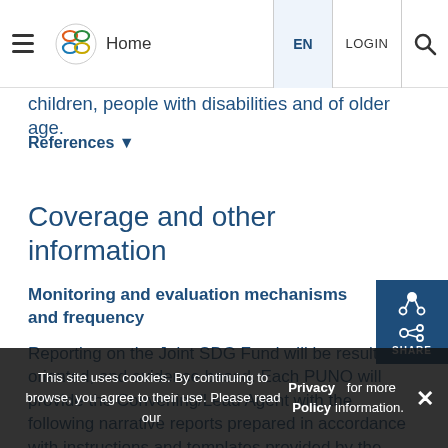Home | EN | LOGIN
children, people with disabilities and of older age.
References ▾
Coverage and other information
Monitoring and evaluation mechanisms and frequency
Reporting on the Joint SDG Fund will be results-oriented, and evidence based. Each PUNO will provide the Convening/Lead Agent with the following narrative reports prepared in accordance with instructions and templates provided by the Joint SDG Fund Secretaria- - Annual narrative progress reports, to be provided no
This site uses cookies. By continuing to browse, you agree to their use. Please read our Privacy Policy for more information.